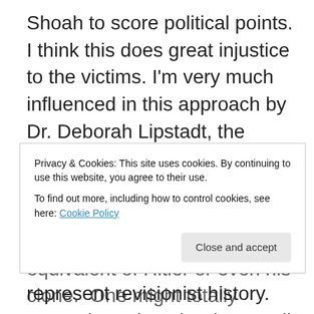Shoah to score political points. I think this does great injustice to the victims. I'm very much influenced in this approach by Dr. Deborah Lipstadt, the renowned Holocaust historian, who wrote a sharp critique of remarks made by Prime Minister Netanyahu this week on the Holocaust that represent revisionist history. More about that shortly. We all know that invoking the Holocaust for political gain did not begin this week. At least two presidential candidates in America, Mike Huckabee and Ben Carson, did this recently and were widely rebuked by a cross-section of the Jewish community. We also know
Privacy & Cookies: This site uses cookies. By continuing to use this website, you agree to their use.
To find out more, including how to control cookies, see here: Cookie Policy
equivalent of Hitler or even his clone. One might totally